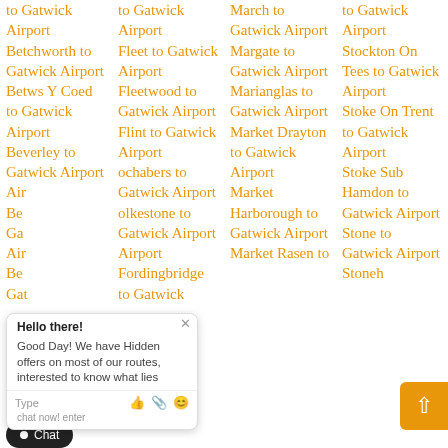to Gatwick Airport
Betchworth to Gatwick Airport
Betws Y Coed to Gatwick Airport
Beverley to Gatwick Airport
to Gatwick Airport
to Gatwick Airport
to Gatwick Airport
to Gatwick Airport
Fleet to Gatwick Airport
Fleetwood to Gatwick Airport
Flint to Gatwick Airport
Lochaber to Gatwick Airport
Folkestone to Gatwick Airport
Fordingbridge to Gatwick Airport
March to Gatwick Airport
Margate to Gatwick Airport
Marianglas to Gatwick Airport
Market Drayton to Gatwick Airport
Market Harborough to Gatwick Airport
Market Rasen to Gatwick Airport
to Gatwick Airport
Stockton On Tees to Gatwick Airport
Stoke On Trent to Gatwick Airport
Stoke Sub Hamdon to Gatwick Airport
Stone to Gatwick Airport
Stonehaven to Gatwick Airport